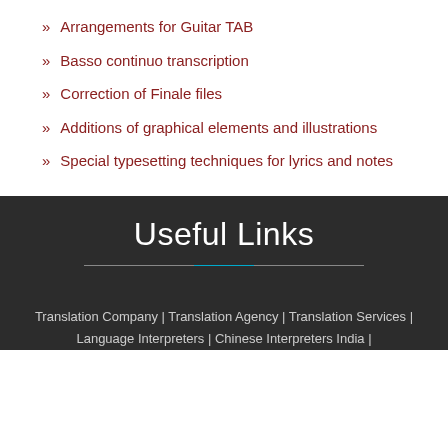Arrangements for Guitar TAB
Basso continuo transcription
Correction of Finale files
Additions of graphical elements and illustrations
Special typesetting techniques for lyrics and notes
Useful Links
Translation Company | Translation Agency | Translation Services | Language Interpreters | Chinese Interpreters India |